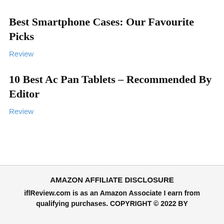Best Smartphone Cases: Our Favourite Picks
Review
10 Best Ac Pan Tablets – Recommended By Editor
Review
AMAZON AFFILIATE DISCLOSURE
iflReview.com is as an Amazon Associate I earn from qualifying purchases. COPYRIGHT © 2022 BY